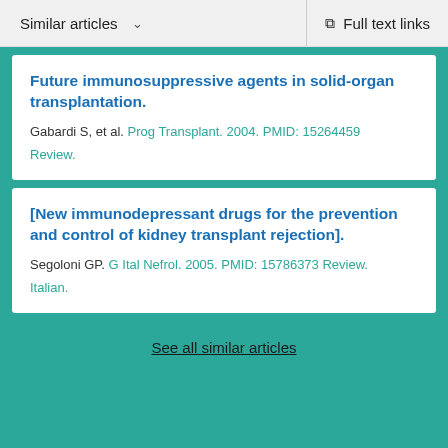Similar articles   Full text links
Future immunosuppressive agents in solid-organ transplantation.
Gabardi S, et al. Prog Transplant. 2004. PMID: 15264459 Review.
[New immunodepressant drugs for the prevention and control of kidney transplant rejection].
Segoloni GP. G Ital Nefrol. 2005. PMID: 15786373 Review. Italian.
See all similar articles